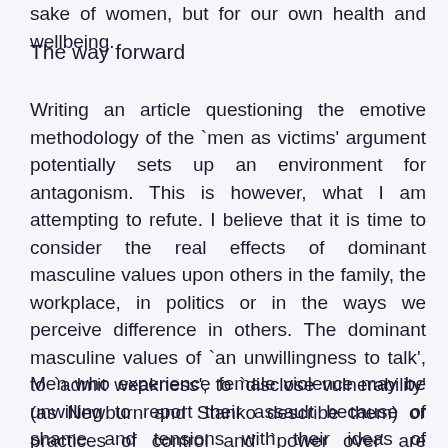sake of women, but for our own health and wellbeing.
The way forward
Writing an article questioning the emotive methodology of the `men as victims' argument potentially sets up an environment for antagonism. This is however, what I am attempting to refute. I believe that it is time to consider the real effects of dominant masculine values upon others in the family, the workplace, in politics or in the ways we perceive difference in others. The dominant masculine values of `an unwillingness to talk', to `admit weakness', to `disclose vulnerability' (as Newburn and Stanko describe them) or practices of control and `power over' are successful tactics of power but they are also the site of men's undoing.
Men who experience female violence may be unwilling to report their assault because of shame and tensions with their ideas of masculinity, or police may laugh at a man